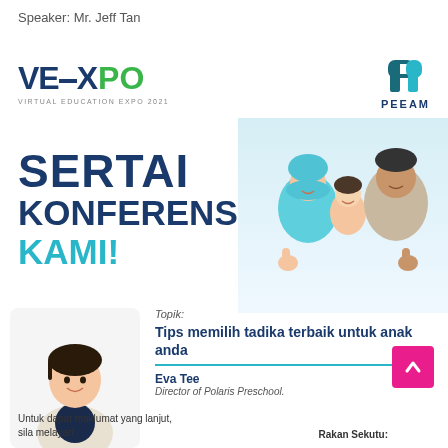Speaker: Mr. Jeff Tan
[Figure (logo): VEEXPO Virtual Education Expo 2021 logo with blue text and green 'PO']
[Figure (logo): PEEAM logo - teal/navy geometric icon with PEEAM text below]
SERTAI KONFERENSI KAMI!
[Figure (photo): Family photo showing a mother in teal hijab, young daughter, and father lying down smiling with thumbs up]
[Figure (photo): Speaker photo: Eva Tee, smiling woman in white blazer]
Topik:
Tips memilih tadika terbaik untuk anak anda
Eva Tee
Director of Polaris Preschool.
Untuk dapat maklumat yang lanjut, sila melayari:
Rakan Sekutu: